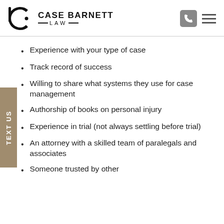Case Barnett Law
Experience with your type of case
Track record of success
Willing to share what systems they use for case management
Authorship of books on personal injury
Experience in trial (not always settling before trial)
An attorney with a skilled team of paralegals and associates
Someone trusted by other